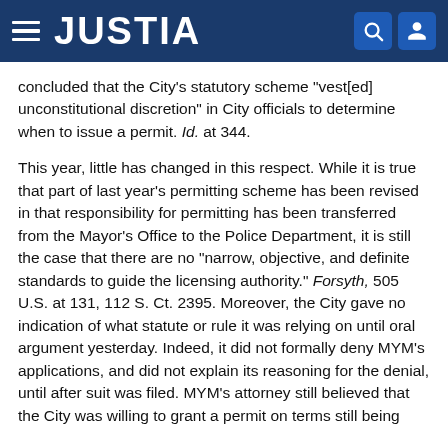JUSTIA
concluded that the City's statutory scheme "vest[ed] unconstitutional discretion" in City officials to determine when to issue a permit. Id. at 344.
This year, little has changed in this respect. While it is true that part of last year's permitting scheme has been revised in that responsibility for permitting has been transferred from the Mayor's Office to the Police Department, it is still the case that there are no "narrow, objective, and definite standards to guide the licensing authority." Forsyth, 505 U.S. at 131, 112 S. Ct. 2395. Moreover, the City gave no indication of what statute or rule it was relying on until oral argument yesterday. Indeed, it did not formally deny MYM's applications, and did not explain its reasoning for the denial, until after suit was filed. MYM's attorney still believed that the City was willing to grant a permit on terms still being